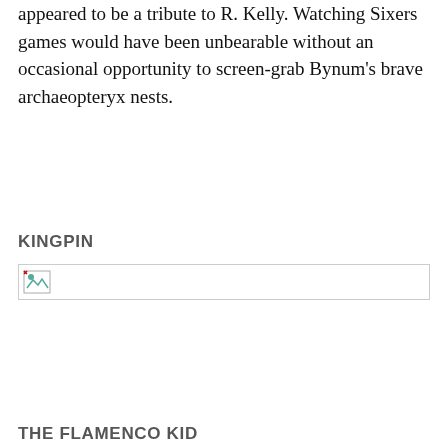appeared to be a tribute to R. Kelly. Watching Sixers games would have been unbearable without an occasional opportunity to screen-grab Bynum's brave archaeopteryx nests.
KINGPIN
[Figure (photo): Broken/unloaded image placeholder with small icon, shown with a border]
THE FLAMENCO KID